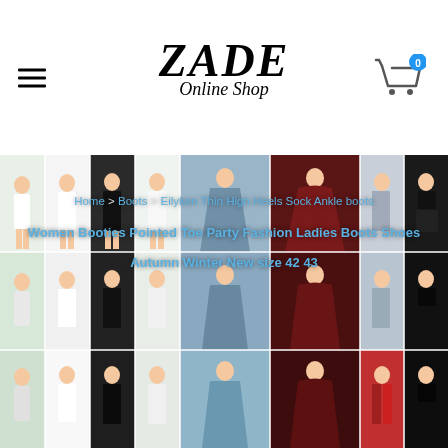[Figure (logo): ZADE Online Shop logo with hamburger menu icon on left and shopping cart with badge '0' on right]
[Figure (photo): Fashion clothing product grid showing multiple women in various outfits including white dresses, black dresses, blue gowns, dark red gowns, floral prints, red swimwear, and black tops]
Home > Boots > Eilyken Thin High Heels Sock Ankle Boots
Women Booties Pointed Toe Party Fashion Ladies Boots Shoes
Autumn Winter New size 42 43